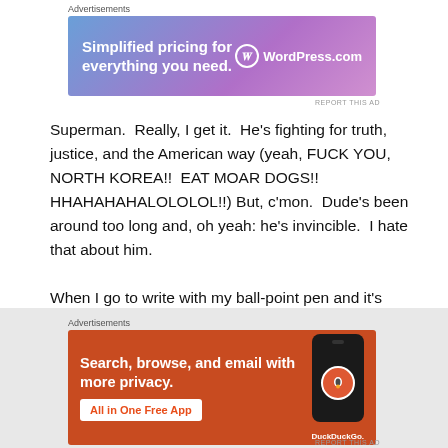Advertisements
[Figure (screenshot): WordPress.com advertisement banner: 'Simplified pricing for everything you need.' with WordPress logo on gradient blue-purple background]
Superman.  Really, I get it.  He's fighting for truth, justice, and the American way (yeah, FUCK YOU, NORTH KOREA!!  EAT MOAR DOGS!!  HHAHAHAHALOLOLOL!!) But, c'mon.  Dude's been around too long and, oh yeah: he's invincible.  I hate that about him.
When I go to write with my ball-point pen and it's not clicked into the “ready” position and I scrape
Advertisements
[Figure (screenshot): DuckDuckGo advertisement banner on orange background: 'Search, browse, and email with more privacy. All in One Free App' with phone mockup and DuckDuckGo logo]